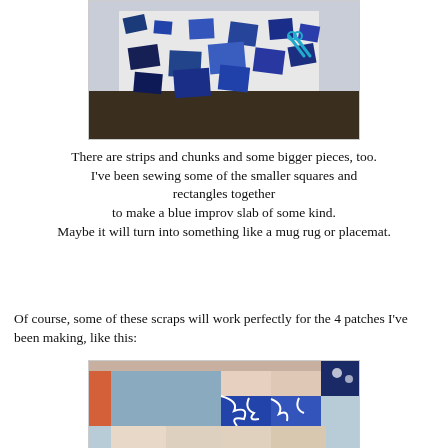[Figure (photo): Overhead view of a table covered with blue fabric scraps, squares, rectangles, strips, and chunks of various sizes arranged on a white surface, with scissors visible.]
There are strips and chunks and some bigger pieces, too. I've been sewing some of the smaller squares and rectangles together to make a blue improv slab of some kind. Maybe it will turn into something like a mug rug or placemat.
Of course, some of these scraps will work perfectly for the 4 patches I've been making, like this:
[Figure (photo): Close-up photo of a quilt patchwork with blue, light blue, peach/cream, and orange fabric squares sewn together in a four-patch style arrangement.]